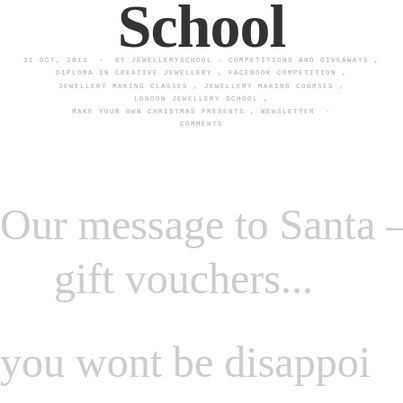School
31 OCT, 2011 · BY JEWELLERYSCHOOL - COMPETITIONS AND GIVEAWAYS , DIPLOMA IN CREATIVE JEWELLERY , FACEBOOK COMPETITION , JEWELLERY MAKING CLASSES , JEWELLERY MAKING COURSES , LONDON JEWELLERY SCHOOL , MAKE YOUR OWN CHRISTMAS PRESENTS , NEWSLETTER · COMMENTS
Our message to Santa – A gift vouchers...
you wont be disappoi